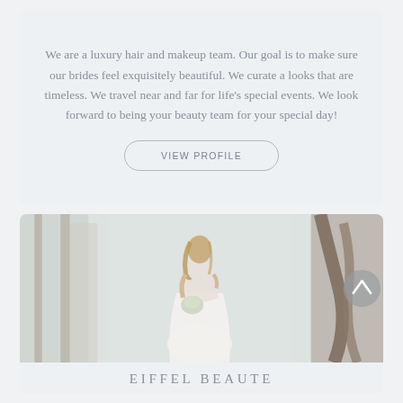We are a luxury hair and makeup team. Our goal is to make sure our brides feel exquisitely beautiful. We curate a looks that are timeless. We travel near and far for life's special events. We look forward to being your beauty team for your special day!
VIEW PROFILE
[Figure (photo): A bride in a white dress holding a bouquet, standing outdoors near trees, photographed from behind/side angle]
EIFFEL BEAUTE